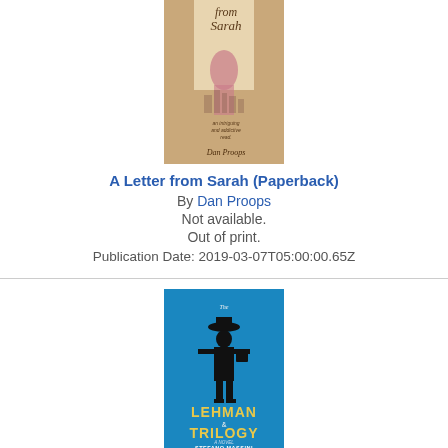[Figure (photo): Book cover for 'A Letter from Sarah' by Dan Proops — tan/beige background with stylized figure and text]
A Letter from Sarah (Paperback)
By Dan Proops
Not available.
Out of print.
Publication Date: 2019-03-07T05:00:00.65Z
[Figure (photo): Book cover for 'The Lehman Trilogy' by Stefano Massini — blue background with silhouette of a man in a hat carrying a briefcase, with bold yellow and white title text]
The Lehman Trilogy Lib/E (Compact Disc)
By Stefano Massini, Richard Dixon (Translator), Edoardo